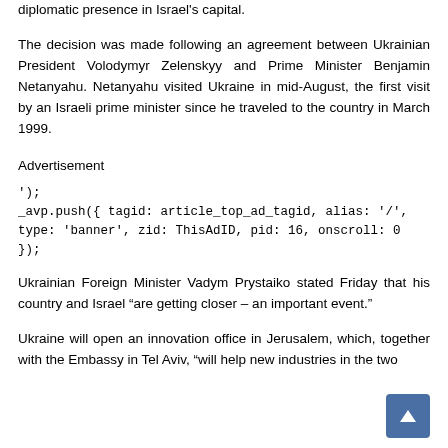diplomatic presence in Israel's capital.
The decision was made following an agreement between Ukrainian President Volodymyr Zelenskyy and Prime Minister Benjamin Netanyahu. Netanyahu visited Ukraine in mid-August, the first visit by an Israeli prime minister since he traveled to the country in March 1999.
Advertisement
');
_avp.push({ tagid: article_top_ad_tagid, alias: '/', type: 'banner', zid: ThisAdID, pid: 16, onscroll: 0 });
Ukrainian Foreign Minister Vadym Prystaiko stated Friday that his country and Israel “are getting closer – an important event.”
Ukraine will open an innovation office in Jerusalem, which, together with the Embassy in Tel Aviv, “will help new industries in the two